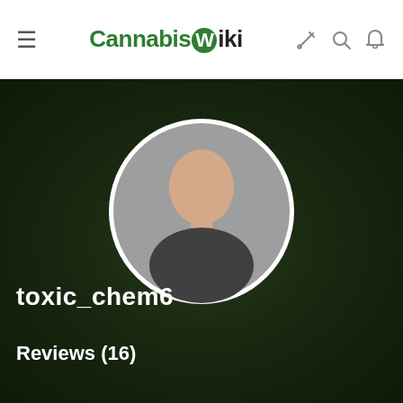CannabisWiki
[Figure (illustration): Default user avatar: a generic faceless person silhouette with light skin-tone head and dark shirt, inside a white-bordered circle, on a dark green textured background.]
toxic_chem6
Reviews (16)